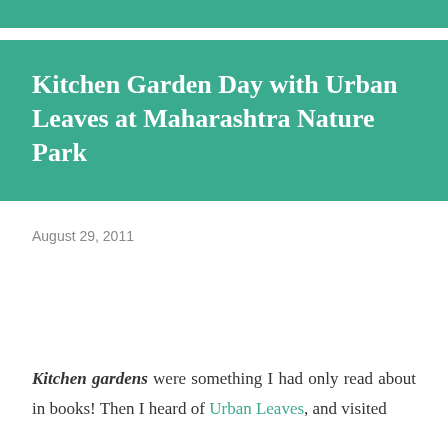Kitchen Garden Day with Urban Leaves at Maharashtra Nature Park
August 29, 2011
Kitchen gardens were something I had only read about in books! Then I heard of Urban Leaves, and visited